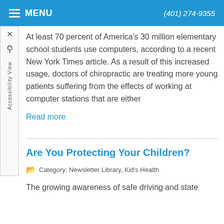MENU   (401) 274-9355
At least 70 percent of America's 30 million elementary school students use computers, according to a recent New York Times article. As a result of this increased usage, doctors of chiropractic are treating more young patients suffering from the effects of working at computer stations that are either
Read more
Are You Protecting Your Children?
Category: Newsletter Library, Kid's Health
The growing awareness of safe driving and state